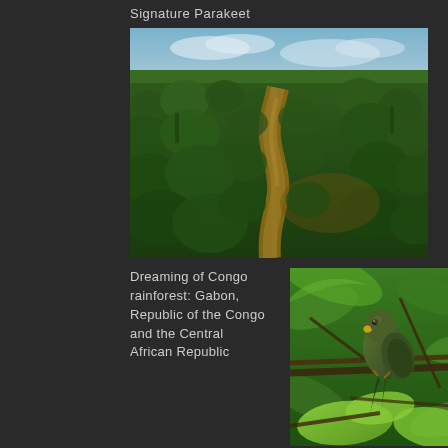Signature Parakeet
[Figure (photo): Aerial view of Congo rainforest with a brown river winding through dense green tropical forest canopy, blue sky with clouds in the background]
Dreaming of Congo rainforest: Gabon, Republic of the Congo and the Central African Republic
[Figure (photo): A parakeet bird perched among green tropical leaves and branches, viewed from below]